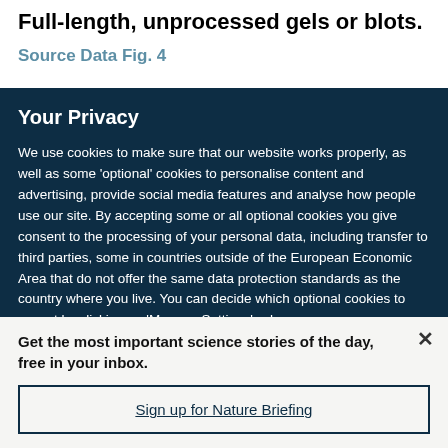Full-length, unprocessed gels or blots.
Source Data Fig. 4
Your Privacy
We use cookies to make sure that our website works properly, as well as some ‘optional’ cookies to personalise content and advertising, provide social media features and analyse how people use our site. By accepting some or all optional cookies you give consent to the processing of your personal data, including transfer to third parties, some in countries outside of the European Economic Area that do not offer the same data protection standards as the country where you live. You can decide which optional cookies to accept by clicking on ‘Manage Settings’, where you can
Get the most important science stories of the day, free in your inbox.
Sign up for Nature Briefing